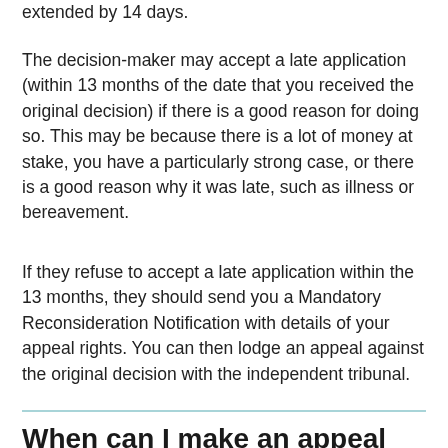extended by 14 days.
The decision-maker may accept a late application (within 13 months of the date that you received the original decision) if there is a good reason for doing so. This may be because there is a lot of money at stake, you have a particularly strong case, or there is a good reason why it was late, such as illness or bereavement.
If they refuse to accept a late application within the 13 months, they should send you a Mandatory Reconsideration Notification with details of your appeal rights. You can then lodge an appeal against the original decision with the independent tribunal.
When can I make an appeal